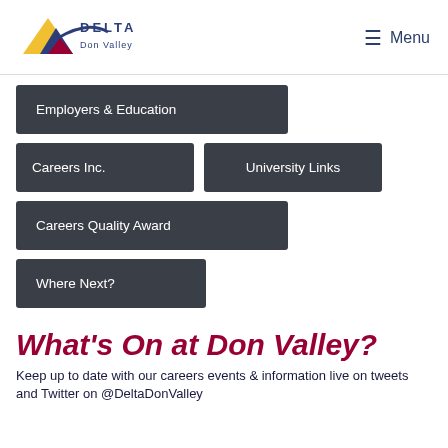[Figure (logo): Delta Don Valley school logo with triangular coloured icon and text]
≡ Menu
Employers & Education
Careers Inc.
University Links
Careers Quality Award
Where Next?
What's On at Don Valley?
Keep up to date with our careers events & information live on tweets and Twitter on @DeltaDonValley